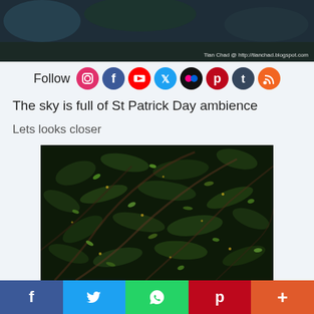[Figure (photo): Dark photo of a night scene, possibly St Patrick Day with green elements in the sky. Watermark: Tian Chad @ http://tianchad.blogspot.com]
Follow [social media icons: Instagram, Facebook, YouTube, Twitter, Flickr, Pinterest, Tumblr, RSS]
The sky is full of St Patrick Day ambience
Lets looks closer
[Figure (photo): Close-up dark photo showing dense green foliage/vegetation with dark branches and green leaves catching light, St Patrick Day ambience]
f [Facebook] | [Twitter] | [WhatsApp] | p [Pinterest] | + [More]